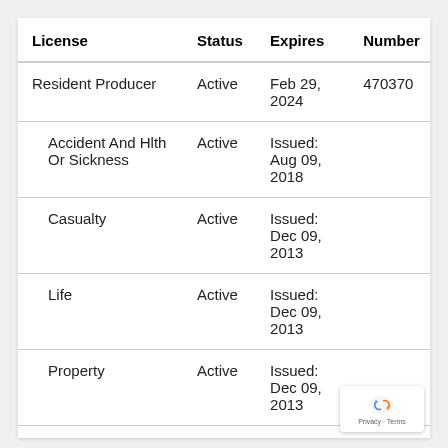| License | Status | Expires | Number |
| --- | --- | --- | --- |
| Resident Producer | Active | Feb 29, 2024 | 470370 |
| Accident And Hlth Or Sickness | Active | Issued: Aug 09, 2018 |  |
| Casualty | Active | Issued: Dec 09, 2013 |  |
| Life | Active | Issued: Dec 09, 2013 |  |
| Property | Active | Issued: Dec 09, 2013 |  |
| Variable Life/Variable Annuity | Active | Issued: Mar 23, 2020 |  |